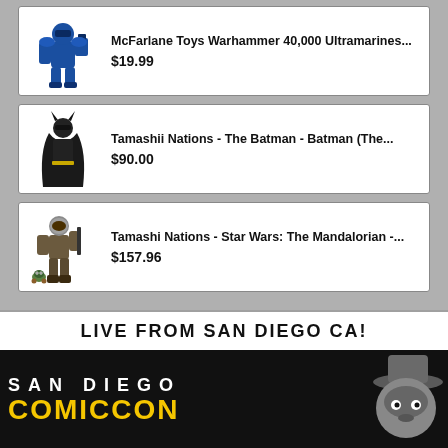[Figure (screenshot): Product listing card: McFarlane Toys Warhammer 40,000 Ultramarines blue space marine action figure]
McFarlane Toys Warhammer 40,000 Ultramarines...
$19.99
[Figure (screenshot): Product listing card: Tamashii Nations The Batman - Batman action figure in black cape]
Tamashii Nations - The Batman - Batman (The...
$90.00
[Figure (screenshot): Product listing card: Tamashi Nations Star Wars The Mandalorian action figure with Grogu]
Tamashi Nations - Star Wars: The Mandalorian -...
$157.96
[Figure (illustration): San Diego Comic-Con banner: white bar with text LIVE FROM SAN DIEGO CA! above black bar with SAN DIEGO text in white and COMICCON in yellow, with animated Batman-style mascot silhouette on the right]